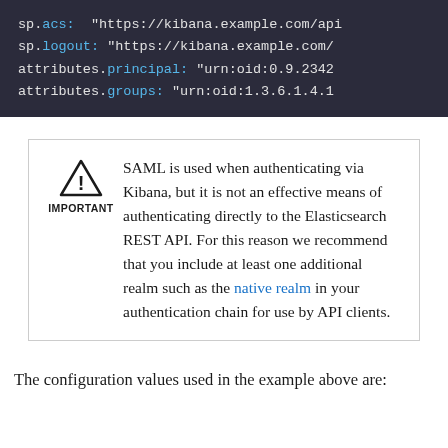[Figure (screenshot): Code block showing YAML/config snippet with sp.acs, sp.logout, attributes.principal, attributes.groups lines on dark background]
SAML is used when authenticating via Kibana, but it is not an effective means of authenticating directly to the Elasticsearch REST API. For this reason we recommend that you include at least one additional realm such as the native realm in your authentication chain for use by API clients.
The configuration values used in the example above are: